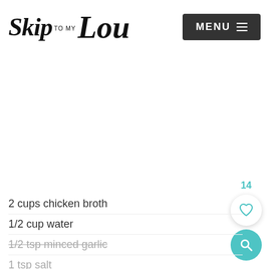Skip to my Lou — MENU
2 cups chicken broth
1/2 cup water
1/2 tsp minced garlic
1 tsp salt